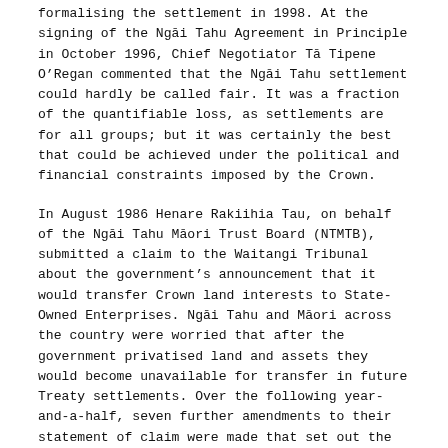formalising the settlement in 1998. At the signing of the Ngāi Tahu Agreement in Principle in October 1996, Chief Negotiator Tā Tipene O'Regan commented that the Ngāi Tahu settlement could hardly be called fair. It was a fraction of the quantifiable loss, as settlements are for all groups; but it was certainly the best that could be achieved under the political and financial constraints imposed by the Crown.
In August 1986 Henare Rakiihia Tau, on behalf of the Ngāi Tahu Māori Trust Board (NTMTB), submitted a claim to the Waitangi Tribunal about the government's announcement that it would transfer Crown land interests to State-Owned Enterprises. Ngāi Tahu and Māori across the country were worried that after the government privatised land and assets they would become unavailable for transfer in future Treaty settlements. Over the following year-and-a-half, seven further amendments to their statement of claim were made that set out the grievances arising from land purchases and the lack of reserves provided by the Crown, and the loss of access to food-gathering areas (mahinga kai), including both sea and inland fisheries. Tau was the Deputy Chairman of the Trust Board, and the Upoko of Ngāi Tūāhuriri. Tā Tipene was the Chairman of the NTMTB, and he and Tau formed an effective partnership in leading the Ngāi Tahu claim in the 1980s. Tā